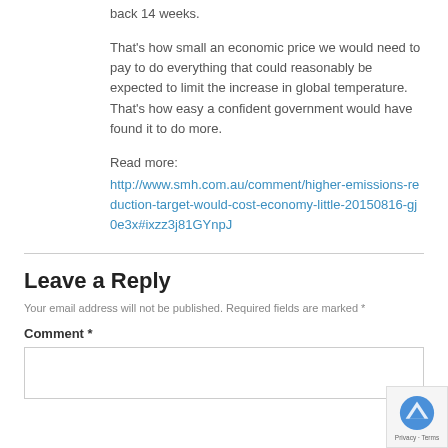back 14 weeks.
That's how small an economic price we would need to pay to do everything that could reasonably be expected to limit the increase in global temperature. That's how easy a confident government would have found it to do more.
Read more:
http://www.smh.com.au/comment/higher-emissions-reduction-target-would-cost-economy-little-20150816-gj0e3x#ixzz3j81GYnpJ
Leave a Reply
Your email address will not be published. Required fields are marked *
Comment *